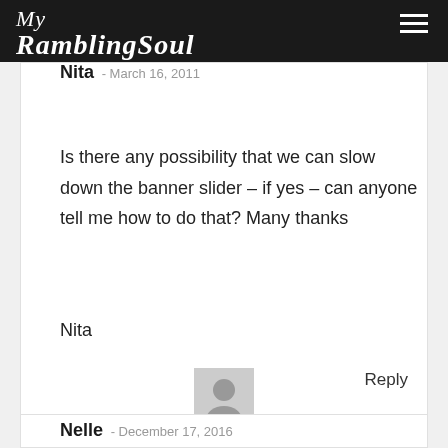My RamblingSoul
Nita - March 16, 2011
Is there any possibility that we can slow down the banner slider – if yes – can anyone tell me how to do that? Many thanks
Nita
Reply
[Figure (illustration): Generic user avatar placeholder icon, grey square with silhouette]
Nelle - December 17, 2016